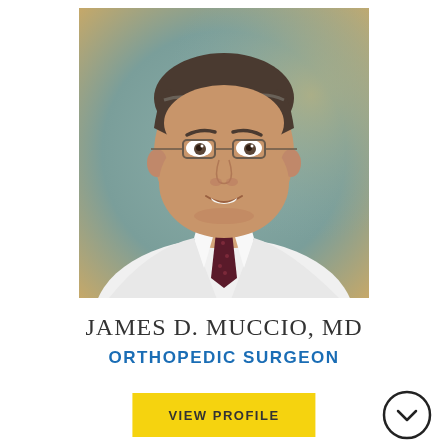[Figure (photo): Professional headshot of Dr. James D. Muccio, MD, an orthopedic surgeon wearing a white lab coat and dark patterned tie, photographed against a muted teal/beige studio background.]
JAMES D. MUCCIO, MD
ORTHOPEDIC SURGEON
VIEW PROFILE